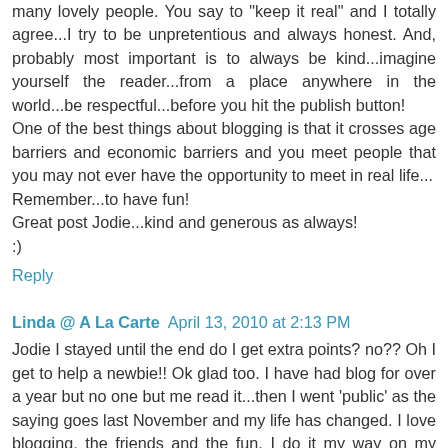many lovely people. You say to "keep it real" and I totally agree...I try to be unpretentious and always honest. And, probably most important is to always be kind...imagine yourself the reader...from a place anywhere in the world...be respectful...before you hit the publish button!
One of the best things about blogging is that it crosses age barriers and economic barriers and you meet people that you may not ever have the opportunity to meet in real life...
Remember...to have fun!
Great post Jodie...kind and generous as always!
:)
Reply
Linda @ A La Carte  April 13, 2010 at 2:13 PM
Jodie I stayed until the end do I get extra points? no?? Oh I get to help a newbie!! Ok glad too. I have had blog for over a year but no one but me read it...then I went 'public' as the saying goes last November and my life has changed. I love blogging, the friends and the fun. I do it my way on my schedule and since over 100 of you like me (really you do?) it seems to work. I will help anyway I can just let me know